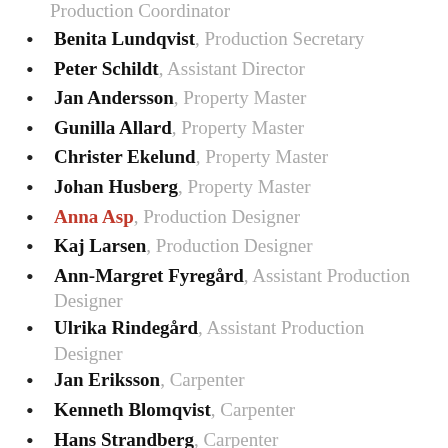Production Coordinator (partial, top of page)
Benita Lundqvist, Production Secretary
Peter Schildt, Assistant Director
Jan Andersson, Property Master
Gunilla Allard, Property Master
Christer Ekelund, Property Master
Johan Husberg, Property Master
Anna Asp, Production Designer
Kaj Larsen, Production Designer
Ann-Margret Fyregård, Assistant Production Designer
Ulrika Rindegård, Assistant Production Designer
Jan Eriksson, Carpenter
Kenneth Blomqvist, Carpenter
Hans Strandberg, Carpenter
Björn Sinclair, Carpenter
Nils-Olof Johansson, Carpenter